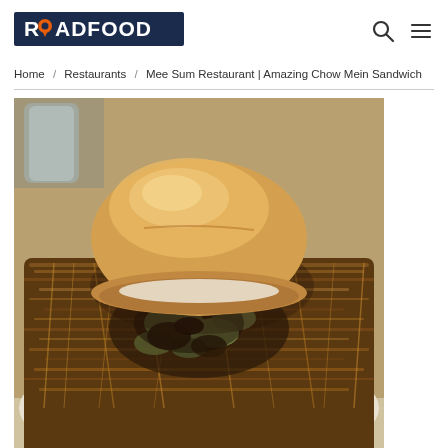[Figure (logo): Roadfood logo with dark navy background and orange map pin accent]
Home / Restaurants / Mee Sum Restaurant | Amazing Chow Mein Sandwich
[Figure (photo): Close-up photo of a Chow Mein Sandwich: a soft white bun sitting atop a pile of stir-fried chow mein noodles with dark sauce and vegetables on a plate]